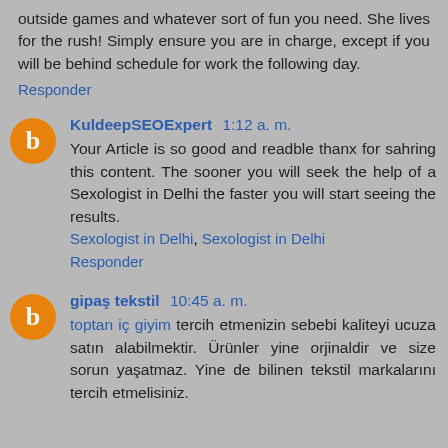outside games and whatever sort of fun you need. She lives for the rush! Simply ensure you are in charge, except if you will be behind schedule for work the following day.
Responder
KuldeepSEOExpert  1:12 a. m.
Your Article is so good and readble thanx for sahring this content. The sooner you will seek the help of a Sexologist in Delhi the faster you will start seeing the results.
Sexologist in Delhi, Sexologist in Delhi
Responder
gipaş tekstil  10:45 a. m.
toptan iç giyim tercih etmenizin sebebi kaliteyi ucuza satın alabilmektir. Ürünler yine orjinaldir ve size sorun yaşatmaz. Yine de bilinen tekstil markalarını tercih etmelisiniz.